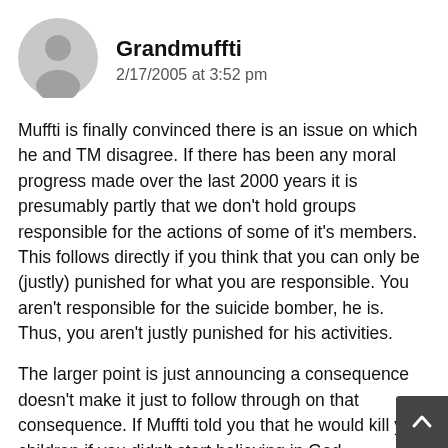[Figure (illustration): Gray circular avatar with silhouette of a person]
Grandmuffti
2/17/2005 at 3:52 pm
Muffti is finally convinced there is an issue on which he and TM disagree. If there has been any moral progress made over the last 2000 years it is presumably partly that we don't hold groups responsible for the actions of some of it's members. This follows directly if you think that you can only be (justly) punished for what you are responsible. You aren't responsible for the suicide bomber, he is. Thus, you aren't justly punished for his activities.
The larger point is just announcing a consequence doesn't make it just to follow through on that consequence. If Muffti told you that he would kill your children if you didn't start believing in God, presumably if you didn't you wouldn't thereby attain moral responsibility for my killing your children. This reminds Muffti a lot of the anti-marijuana campaign in the